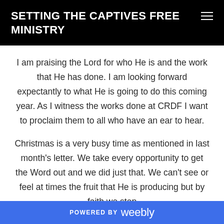SETTING THE CAPTIVES FREE MINISTRY
I am praising the Lord for who He is and the work that He has done. I am looking forward expectantly to what He is going to do this coming year. As I witness the works done at CRDF I want to proclaim them to all who have an ear to hear.
Christmas is a very busy time as mentioned in last month’s letter. We take every opportunity to get the Word out and we did just that. We can’t see or feel at times the fruit that He is producing but by faith we step
POWERED BY weebly